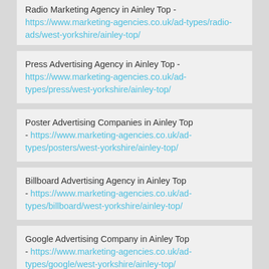Radio Marketing Agency in Ainley Top - https://www.marketing-agencies.co.uk/ad-types/radio-ads/west-yorkshire/ainley-top/
Press Advertising Agency in Ainley Top - https://www.marketing-agencies.co.uk/ad-types/press/west-yorkshire/ainley-top/
Poster Advertising Companies in Ainley Top - https://www.marketing-agencies.co.uk/ad-types/posters/west-yorkshire/ainley-top/
Billboard Advertising Agency in Ainley Top - https://www.marketing-agencies.co.uk/ad-types/billboard/west-yorkshire/ainley-top/
Google Advertising Company in Ainley Top - https://www.marketing-agencies.co.uk/ad-types/google/west-yorkshire/ainley-top/
Facebook Ad Agency in Ainley Top - https://www.marketing-agencies.co.uk/...